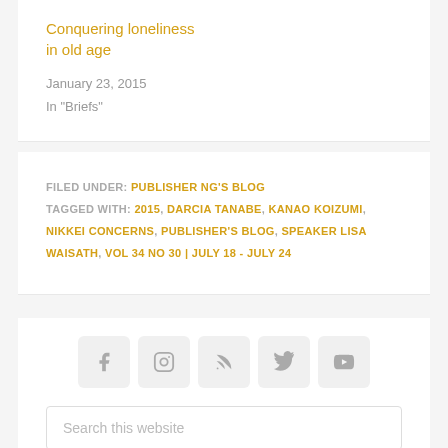Conquering loneliness in old age
January 23, 2015
In "Briefs"
FILED UNDER: PUBLISHER NG'S BLOG
TAGGED WITH: 2015, DARCIA TANABE, KANAO KOIZUMI, NIKKEI CONCERNS, PUBLISHER'S BLOG, SPEAKER LISA WAISATH, VOL 34 NO 30 | JULY 18 - JULY 24
[Figure (infographic): Social media icons row: Facebook, Instagram, RSS, Twitter, YouTube]
Search this website